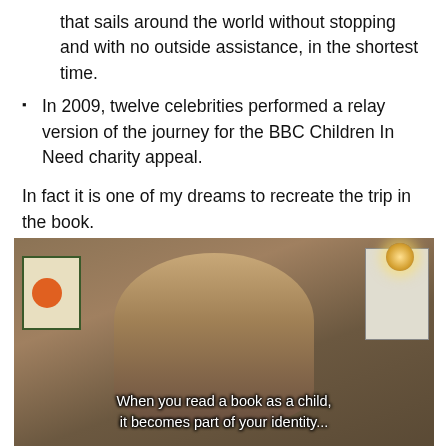that sails around the world without stopping and with no outside assistance, in the shortest time.
In 2009, twelve celebrities performed a relay version of the journey for the BBC Children In Need charity appeal.
In fact it is one of my dreams to recreate the trip in the book.
[Figure (screenshot): Video screenshot of a woman speaking indoors, with subtitle text: 'When you read a book as a child, it becomes part of your identity...']